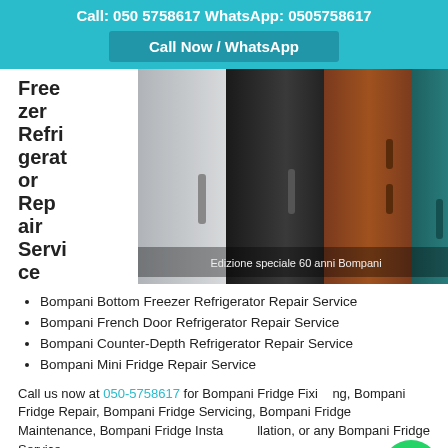Call: 050 5758617 WhatsApp: 0505758617
Call Now / WhatsApp
Freezer Refrigerator Repair Service
[Figure (photo): Photo of multiple colorful retro-style Bompani refrigerators with text 'Edizione speciale 60 anni Bompani']
Bompani Bottom Freezer Refrigerator Repair Service
Bompani French Door Refrigerator Repair Service
Bompani Counter-Depth Refrigerator Repair Service
Bompani Mini Fridge Repair Service
Call us now at 050-5758617 for Bompani Fridge Fixing, Bompani Fridge Repair, Bompani Fridge Servicing, Bompani Fridge Maintenance, Bompani Fridge Installation, or any Bompani Fridge Service.